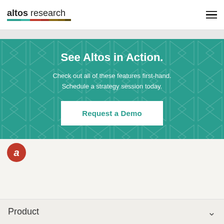altos research
See Altos in Action.
Check out all of these features first-hand. Schedule a strategy session today.
Request a Demo
[Figure (logo): Altos Research circular logo with lowercase 'a' in red circle]
Product